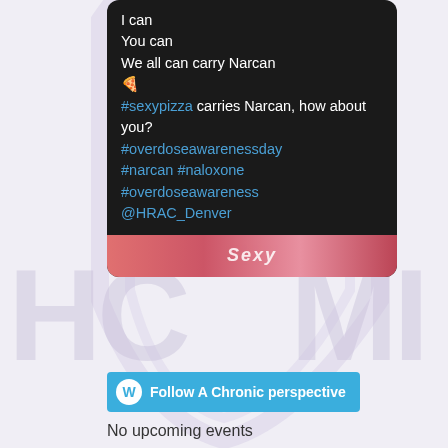[Figure (screenshot): Background watermark SVG with large semi-transparent arch/shield logo and text 'HC' on left and 'MI' on right]
I can
You can
We all can carry Narcan
🍕
#sexypizza carries Narcan, how about you?
#overdoseawarenessday
#narcan #naloxone
#overdoseawareness
@HRAC_Denver
[Figure (screenshot): Pink/red colored image strip at bottom of tweet card showing partial text 'Sexy']
Follow A Chronic perspective
No upcoming events